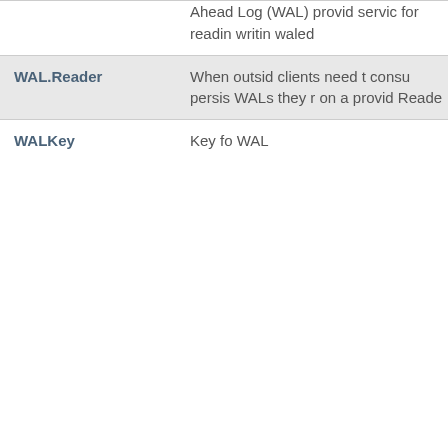| Term | Description |
| --- | --- |
|  | Ahead Log (WAL) provides services for reading, writing waled |
| WAL.Reader | When outside clients need to consume persistent WALs they r on a provid Reader |
| WALKey | Key fo WAL |